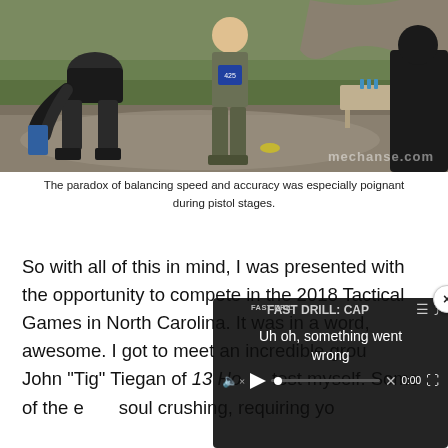[Figure (photo): Outdoor shooting range scene with people standing on a dirt and grass range, one person appearing to be scored or checked, targets visible in background, watermark 'rechause.com' in lower right]
The paradox of balancing speed and accuracy was especially poignant during pistol stages.
So with all of this in mind, I was presented with the opportunity to compete in the 2018 Tactical Games in North Carolina. It was in a word, awesome. I got to meet an incredible grou... John “Tig” Tiegan of 13 Ho... test myself. Some of the e... soul crushing, requiring yo...
[Figure (screenshot): Video player overlay with error message 'Uh oh, something went wrong', showing FAST DRILL: CAP title, mute icon, play button, progress bar, X button, 0:00 timestamp, and fullscreen icon. Close button (x) in top-right corner.]